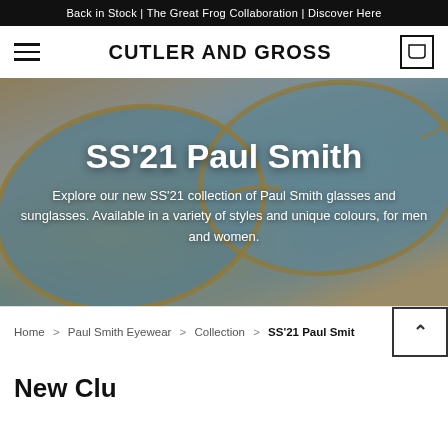Back in Stock | The Great Frog Collaboration | Discover Here
CUTLER AND GROSS
[Figure (photo): Close-up photo of transparent/gold-framed Paul Smith sunglasses with blue tinted lenses on a yellow background. Overlaid with white text reading 'SS'21 Paul Smith' and descriptive paragraph.]
SS'21 Paul Smith
Explore our new SS'21 collection of Paul Smith glasses and sunglasses. Available in a variety of styles and unique colours, for men and women.
Home > Paul Smith Eyewear > Collection > SS'21 Paul Smith
New Clu...